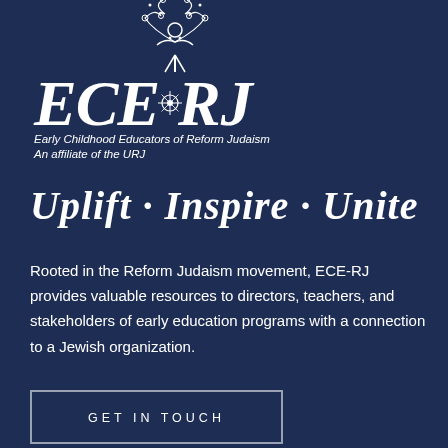[Figure (logo): ECE-RJ logo with tree figure above large italic ECE-RJ text, and subtitle 'Early Childhood Educators of Reform Judaism / An affiliate of the URJ' on dark navy background]
Uplift · Inspire · Unite
Rooted in the Reform Judaism movement, ECE-RJ provides valuable resources to directors, teachers, and stakeholders of early education programs with a connection to a Jewish organization.
GET IN TOUCH